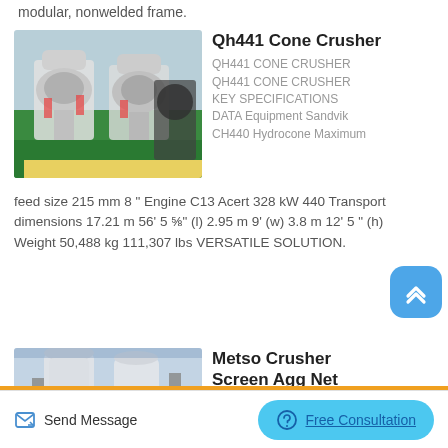modular, nonwelded frame.
Qh441 Cone Crusher
[Figure (photo): Photo of Qh441 Cone Crusher machines in a warehouse/factory setting]
QH441 CONE CRUSHER QH441 CONE CRUSHER KEY SPECIFICATIONS DATA Equipment Sandvik CH440 Hydrocone Maximum feed size 215 mm 8 " Engine C13 Acert 328 kW 440 Transport dimensions 17.21 m 56' 5 ⅝" (l) 2.95 m 9' (w) 3.8 m 12' 5 " (h) Weight 50,488 kg 111,307 lbs VERSATILE SOLUTION.
Metso Crusher Screen Agg Net
[Figure (photo): Photo of Metso Crusher industrial equipment in a factory]
Send Message
Free Consultation